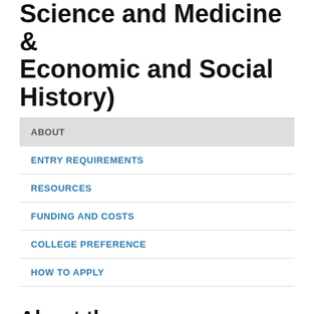Science and Medicine & Economic and Social History)
ABOUT
ENTRY REQUIREMENTS
RESOURCES
FUNDING AND COSTS
COLLEGE PREFERENCE
HOW TO APPLY
About the course
The DPhil in History (History of Science and Medicine & Economic and Social History)